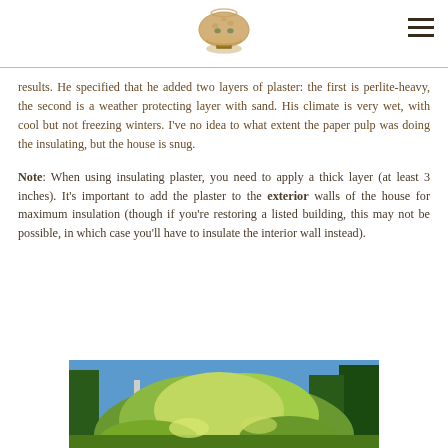[Logo: mushroom/toadstool house illustration] [Hamburger menu icon]
results. He specified that he added two layers of plaster: the first is perlite-heavy, the second is a weather protecting layer with sand. His climate is very wet, with cool but not freezing winters. I've no idea to what extent the paper pulp was doing the insulating, but the house is snug.
Note: When using insulating plaster, you need to apply a thick layer (at least 3 inches). It's important to add the plaster to the exterior walls of the house for maximum insulation (though if you're restoring a listed building, this may not be possible, in which case you'll have to insulate the interior wall instead).
[Figure (photo): Outdoor photo showing a building or structure covered in dense green vegetation/vines with trees in the background against a blue sky.]